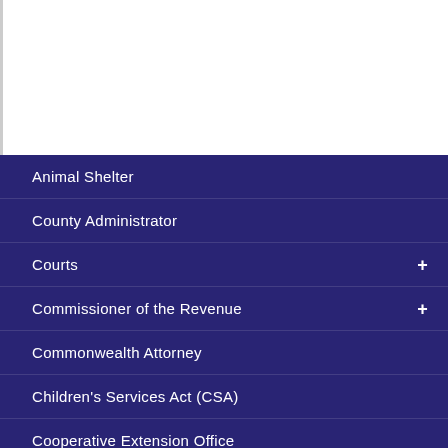Animal Shelter
County Administrator
Courts +
Commissioner of the Revenue +
Commonwealth Attorney
Children's Services Act (CSA)
Cooperative Extension Office